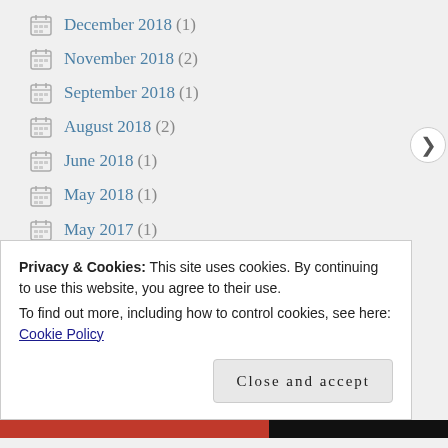December 2018 (1)
November 2018 (2)
September 2018 (1)
August 2018 (2)
June 2018 (1)
May 2018 (1)
May 2017 (1)
May 2016 (1)
April 2015 (1)
Privacy & Cookies: This site uses cookies. By continuing to use this website, you agree to their use.
To find out more, including how to control cookies, see here: Cookie Policy
Close and accept